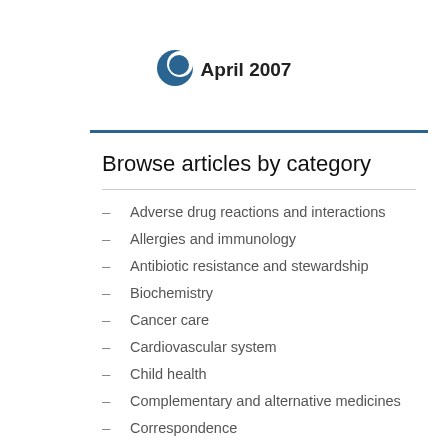[Figure (logo): Blue crescent/circle logo icon for April 2007 date badge]
April 2007
Browse articles by category
Adverse drug reactions and interactions
Allergies and immunology
Antibiotic resistance and stewardship
Biochemistry
Cancer care
Cardiovascular system
Child health
Complementary and alternative medicines
Correspondence